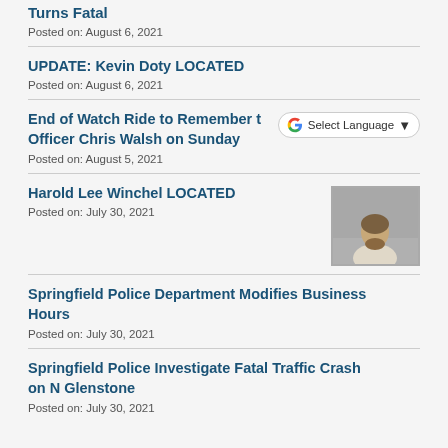Turns Fatal
Posted on: August 6, 2021
UPDATE: Kevin Doty LOCATED
Posted on: August 6, 2021
End of Watch Ride to Remember to Honor Officer Chris Walsh on Sunday
Posted on: August 5, 2021
Harold Lee Winchel LOCATED
Posted on: July 30, 2021
[Figure (photo): Mugshot photo of Harold Lee Winchel]
Springfield Police Department Modifies Business Hours
Posted on: July 30, 2021
Springfield Police Investigate Fatal Traffic Crash on N Glenstone
Posted on: July 30, 2021